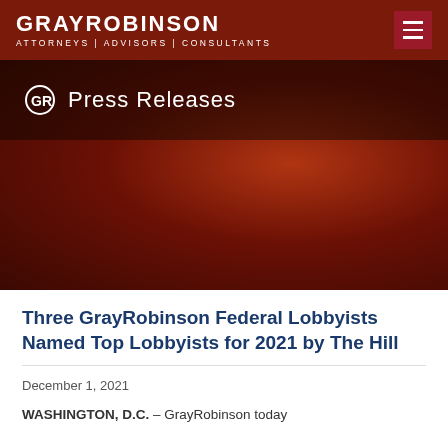GRAYROBINSON ATTORNEYS | ADVISORS | CONSULTANTS
Press Releases
Three GrayRobinson Federal Lobbyists Named Top Lobbyists for 2021 by The Hill
December 1, 2021
WASHINGTON, D.C. – GrayRobinson today